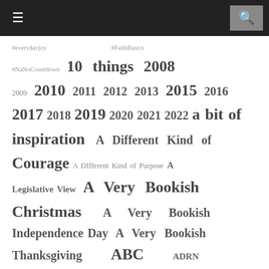Navigation bar with menu and search icons
#everydayjoy #FaithBasics #NaNoCountdown 10 things 2008 2009 2010 2011 2012 2013 2015 2016 2017 2018 2019 2020 2021 2022 a bit of inspiration A Different Kind of Courage A DIfferent Kind of Purpose A Legislative View A Very Bookish Christmas A Very Bookish Independence Day A Very Bookish Thanksgiving ABC ADRN Adventure Between the Pages Amazon Affiliate Links audiobooks August Amazingness Author Mentership Authors I Love birthday blog of the month The...